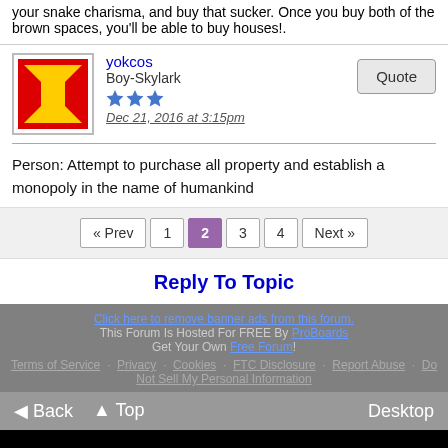your snake charisma, and buy that sucker. Once you buy both of the brown spaces, you'll be able to buy houses!.
yokcos
Boy-Skylark
Dec 21, 2016 at 3:15pm
Person: Attempt to purchase all property and establish a monopoly in the name of humankind
« Prev  1  2  3  4  Next »
Reply To Topic
Click here to remove banner ads from this forum.
This Forum Is Hosted For FREE By ProBoards
Get Your Own Free Forum!
Terms of Service · Privacy · Cookies · FTC Disclosure · Report Abuse · Do Not Sell My Personal Information
◄ Back  ▲ Top  Desktop